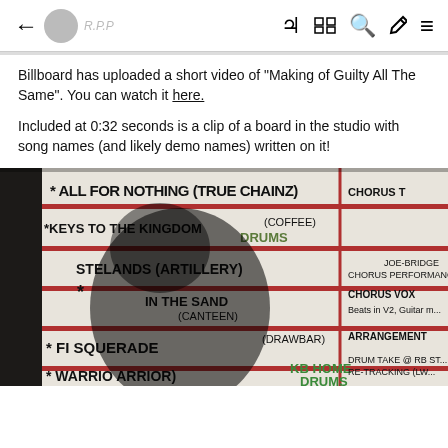← [site logo] [site name] ☾ ⊞ 🔍 ✏ ≡
Billboard has uploaded a short video of "Making of Guilty All The Same". You can watch it here.
Included at 0:32 seconds is a clip of a board in the studio with song names (and likely demo names) written on it!
[Figure (photo): Photo of a studio whiteboard/blackboard showing handwritten song names and demo names: All For Nothing (True Chainz), Keys To The Kingdom (Coffee) DRUMS, [Wastelands] (Artillery), In The Sand (Canteen), [Fint...] Masquerade (Drawbar), Warrior (Warrior) KB Home Drums, [Carry The G...] (Plato). Right column shows: CHORUS T, Joe-Bridge Chorus Performance, Chorus VOX Beats in V2 Guitar..., ARRANGEMENT, DRUM TAKE @ RB ST RE-TRACKING (LW..., Vocal tuning comp MS cool sounds + perc... is BD solo from?]